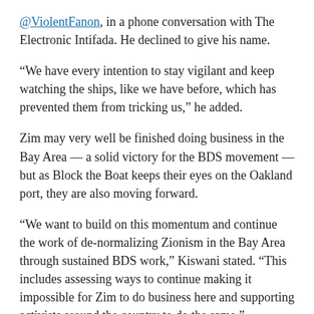@ViolentFanon, in a phone conversation with The Electronic Intifada. He declined to give his name.
“We have every intention to stay vigilant and keep watching the ships, like we have before, which has prevented them from tricking us,” he added.
Zim may very well be finished doing business in the Bay Area — a solid victory for the BDS movement — but as Block the Boat keeps their eyes on the Oakland port, they are also moving forward.
“We want to build on this momentum and continue the work of de-normalizing Zionism in the Bay Area through sustained BDS work,” Kiswani stated. “This includes assessing ways to continue making it impossible for Zim to do business here and supporting activists around the country to do the same.”